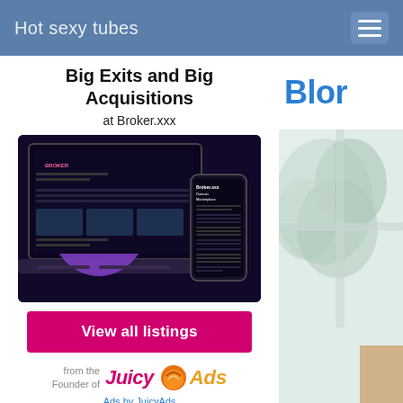Hot sexy tubes
Big Exits and Big Acquisitions at Broker.xxx
[Figure (screenshot): Advertisement image showing a laptop and mobile phone displaying Broker.xxx Domain Marketplace interface with a purple mascot illustration]
View all listings
from the Founder of JuicyAds
Ads by JuicyAds
Blon